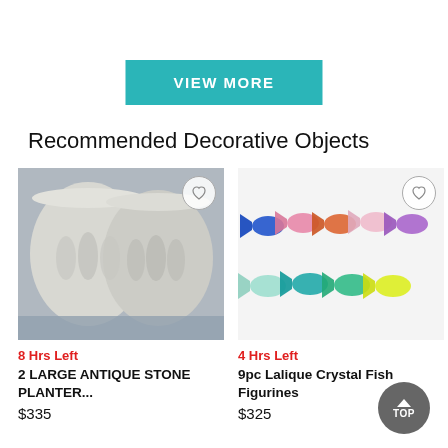VIEW MORE
Recommended Decorative Objects
[Figure (photo): Photo of two large antique stone planters with cherub/figure relief carvings, white/grey stone, photographed on blue floor]
8 Hrs Left
2 LARGE ANTIQUE STONE PLANTER...
$335
[Figure (photo): Photo of 9 Lalique crystal fish figurines in various colors (blue, pink, orange, purple, teal, green, yellow) arranged in two rows on white background]
4 Hrs Left
9pc Lalique Crystal Fish Figurines
$325